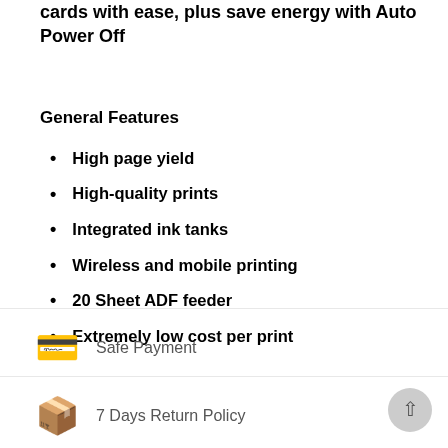cards with ease, plus save energy with Auto Power Off
General Features
High page yield
High-quality prints
Integrated ink tanks
Wireless and mobile printing
20 Sheet ADF feeder
Extremely low cost per print
Safe Payment
7 Days Return Policy